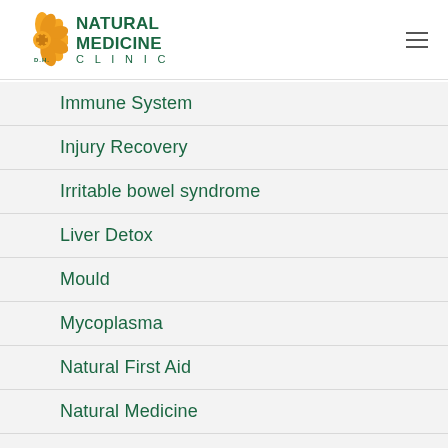[Figure (logo): Natural Medicine Clinic D.H. logo with orange flower and green text]
Immune System
Injury Recovery
Irritable bowel syndrome
Liver Detox
Mould
Mycoplasma
Natural First Aid
Natural Medicine
Natural Treatment for Kidney